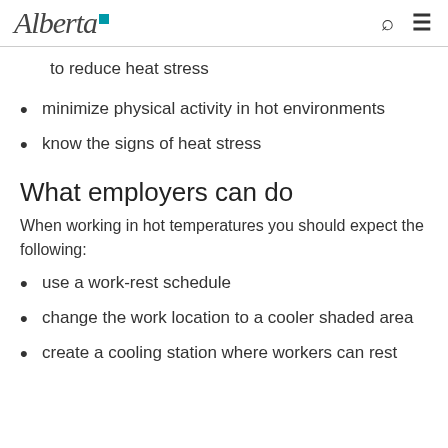Alberta [logo]
to reduce heat stress
minimize physical activity in hot environments
know the signs of heat stress
What employers can do
When working in hot temperatures you should expect the following:
use a work-rest schedule
change the work location to a cooler shaded area
create a cooling station where workers can rest